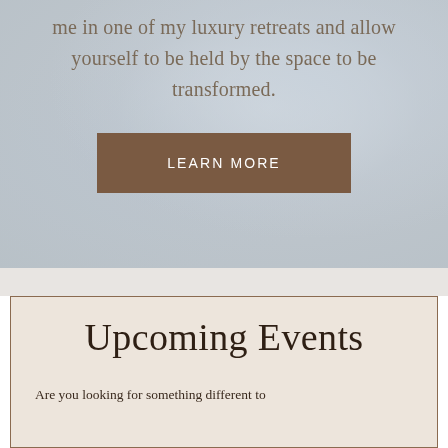me in one of my luxury retreats and allow yourself to be held by the space to be transformed.
LEARN MORE
Upcoming Events
Are you looking for something different to...